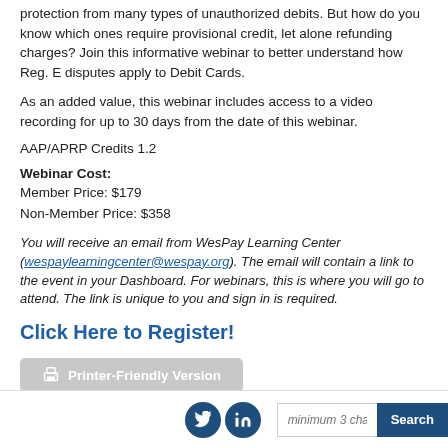protection from many types of unauthorized debits. But how do you know which ones require provisional credit, let alone refunding charges? Join this informative webinar to better understand how Reg. E disputes apply to Debit Cards.
As an added value, this webinar includes access to a video recording for up to 30 days from the date of this webinar.
AAP/APRP Credits 1.2
Webinar Cost:
Member Price: $179
Non-Member Price: $358
You will receive an email from WesPay Learning Center (wespaylearningcenter@wespay.org). The email will contain a link to the event in your Dashboard. For webinars, this is where you will go to attend. The link is unique to you and sign in is required.
Click Here to Register!
Printer-Friendly Version
minimum 3 chars  Search